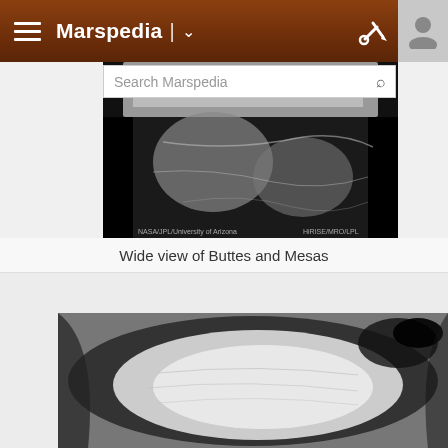Marspedia
[Figure (screenshot): Marspedia website header with hamburger menu, site title 'Marspedia', dropdown caret, tools icon, and user profile icon on a dark reddish-brown Mars surface background]
[Figure (photo): Close-up black and white satellite/orbital image of Mars surface showing buttes and mesas terrain with a search bar overlay reading 'Search Marspedia']
Wide view of Buttes and Mesas
[Figure (photo): Wide black and white aerial/orbital view of Buttes and Mesas on Mars, showing a large mesa formation with dark and light tonal contrasts]